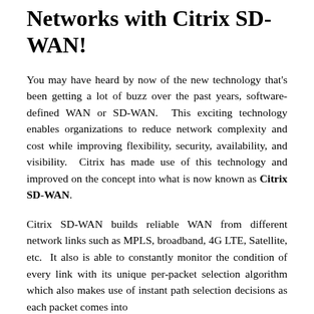Networks with Citrix SD-WAN!
You may have heard by now of the new technology that's been getting a lot of buzz over the past years, software-defined WAN or SD-WAN. This exciting technology enables organizations to reduce network complexity and cost while improving flexibility, security, availability, and visibility. Citrix has made use of this technology and improved on the concept into what is now known as Citrix SD-WAN.
Citrix SD-WAN builds reliable WAN from different network links such as MPLS, broadband, 4G LTE, Satellite, etc. It also is able to constantly monitor the condition of every link with its unique per-packet selection algorithm which also makes use of instant path selection decisions as each packet comes into